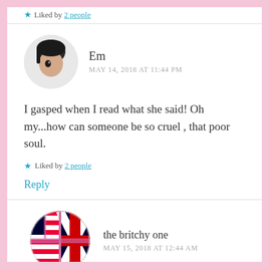Liked by 2 people
Em
MAY 14, 2018 AT 11:44 PM
I gasped when I read what she said! Oh my...how can someone be so cruel , that poor soul.
Liked by 2 people
Reply
the britchy one
MAY 15, 2018 AT 12:44 AM